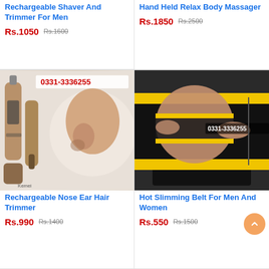Rechargeable Shaver And Trimmer For Men
Rs.1050  Rs.1600
Hand Held Relax Body Massager
Rs.1850  Rs.2500
[Figure (photo): Rechargeable nose ear hair trimmer product with phone number 0331-3336255]
[Figure (photo): Hot slimming belt for men and women, black and yellow neoprene, with phone number 0331-3336255]
Rechargeable Nose Ear Hair Trimmer
Rs.990  Rs.1400
Hot Slimming Belt For Men And Women
Rs.550  Rs.1500